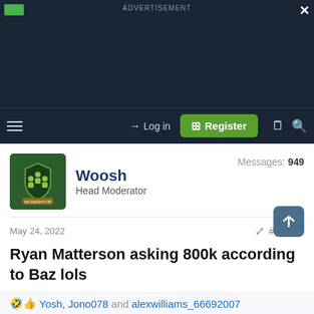ADVERTISEMENT
Log in | Register
Woosh
Head Moderator
Messages: 949
May 24, 2022  #18,525
Ryan Matterson asking 800k according to Baz lols
Yosh, Jono078 and alexwilliams_66692007
Jono078
Coach
Messages: 19,478